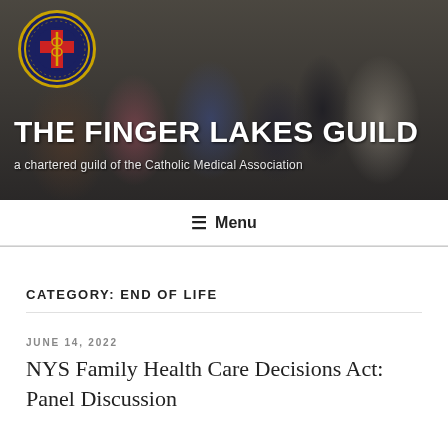[Figure (photo): Banner photo of an outdoor gathering of people with the Finger Lakes Guild logo overlay and white text title]
THE FINGER LAKES GUILD
a chartered guild of the Catholic Medical Association
≡ Menu
CATEGORY: END OF LIFE
JUNE 14, 2022
NYS Family Health Care Decisions Act: Panel Discussion